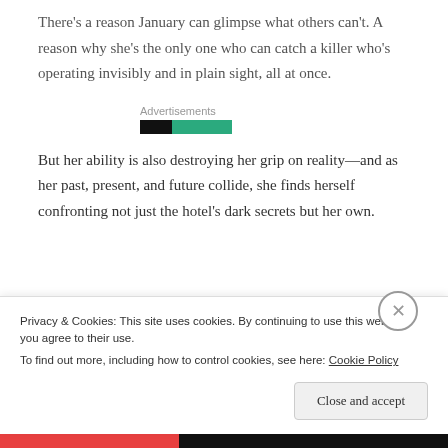There’s a reason January can glimpse what others can’t. A reason why she’s the only one who can catch a killer who’s operating invisibly and in plain sight, all at once.
[Figure (other): Advertisements section with a black bar and a green bar (ad placeholders)]
But her ability is also destroying her grip on reality—and as her past, present, and future collide, she finds herself confronting not just the hotel’s dark secrets but her own.
Privacy & Cookies: This site uses cookies. By continuing to use this website, you agree to their use.
To find out more, including how to control cookies, see here: Cookie Policy
Close and accept